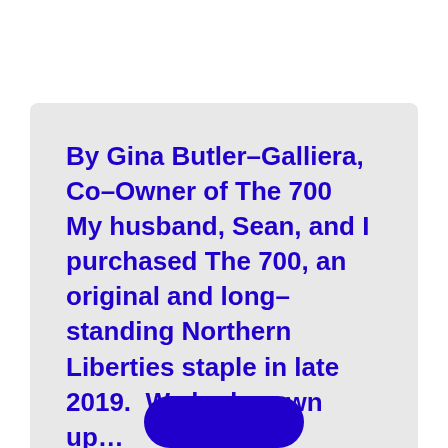By Gina Butler–Galliera, Co–Owner of The 700   My husband, Sean, and I purchased The 700, an original and long–standing Northern Liberties staple in late 2019.  We had grown up...
Read More